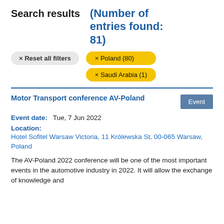Search results  (Number of entries found: 81)
× Reset all filters
× Poland (80)
× Saudi Arabia (1)
Motor Transport conference AV-Poland
Event
Event date:   Tue, 7 Jun 2022
Location:
Hotel Sofitel Warsaw Victoria, 11 Królewska St, 00-065 Warsaw, Poland
The AV-Poland 2022 conference will be one of the most important events in the automotive industry in 2022. It will allow the exchange of knowledge and